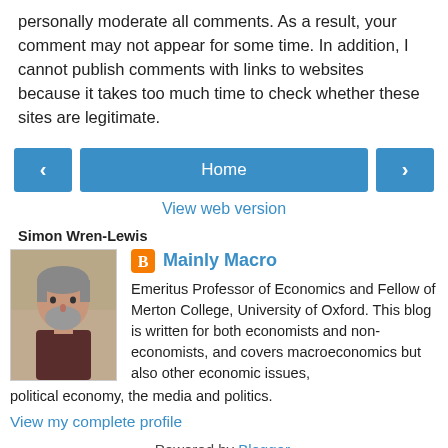personally moderate all comments. As a result, your comment may not appear for some time. In addition, I cannot publish comments with links to websites because it takes too much time to check whether these sites are legitimate.
[Figure (other): Navigation buttons: left arrow, Home button, right arrow]
View web version
Simon Wren-Lewis
[Figure (photo): Photo of Simon Wren-Lewis, a man with gray hair and beard]
Mainly Macro
Emeritus Professor of Economics and Fellow of Merton College, University of Oxford. This blog is written for both economists and non-economists, and covers macroeconomics but also other economic issues, political economy, the media and politics.
View my complete profile
Powered by Blogger.